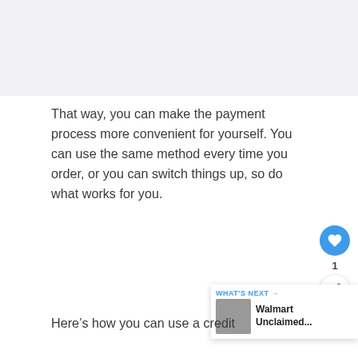[Figure (photo): Top image area, light gray placeholder (content cut off at top)]
That way, you can make the payment process more convenient for yourself. You can use the same method every time you order, or you can switch things up, so do what works for you.
Here’s how you can use a credit